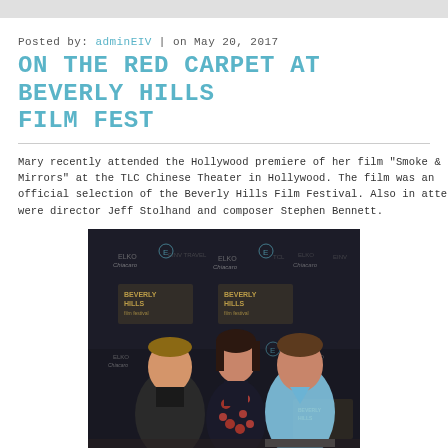Posted by: adminEIV | on May 20, 2017
ON THE RED CARPET AT BEVERLY HILLS FILM FEST
Mary recently attended the Hollywood premiere of her film "Smoke & Mirrors" at the TLC Chinese Theater in Hollywood. The film was an official selection of the Beverly Hills Film Festival. Also in attendance were director Jeff Stolhand and composer Stephen Bennett.
[Figure (photo): Three people standing on the red carpet at the Beverly Hills Film Festival. From left to right: a man in a dark jacket, a woman in a floral dress, and a man in a light blue shirt. Beverly Hills Film Festival backdrop visible behind them.]